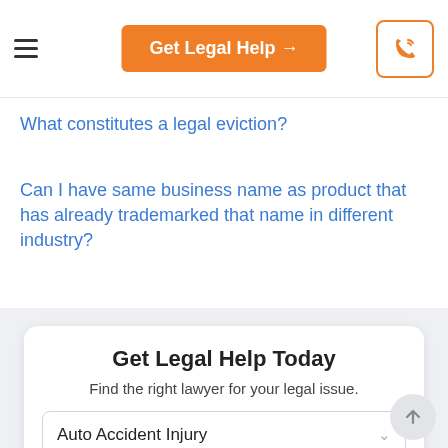Get Legal Help →
What constitutes a legal eviction?
Can I have same business name as product that has already trademarked that name in different industry?
Get Legal Help Today
Find the right lawyer for your legal issue.
Auto Accident Injury
ZIP Code